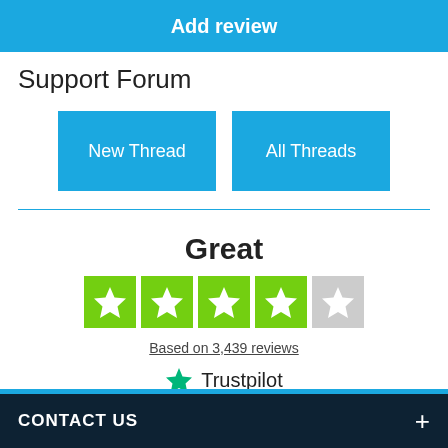Add review
Support Forum
[Figure (screenshot): Two blue buttons labeled 'New Thread' and 'All Threads']
Great
[Figure (infographic): Trustpilot star rating showing 4 green stars and 1 grey star]
Based on 3,439 reviews
[Figure (logo): Trustpilot logo with green star]
CONTACT US